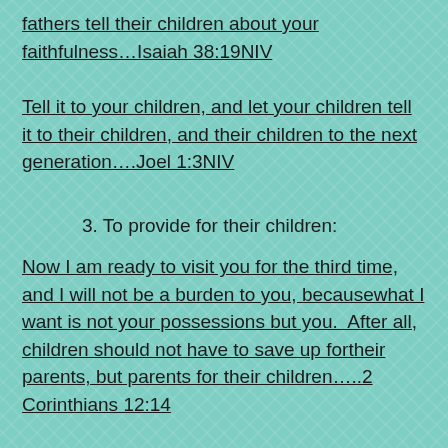fathers tell their children about your faithfulness…Isaiah 38:19NIV
Tell it to your children, and let your children tell it to their children, and their children to the next generation….Joel 1:3NIV
3. To provide for their children:
Now I am ready to visit you for the third time, and I will not be a burden to you, becausewhat I want is not your possessions but you.  After all, children should not have to save up fortheir parents, but parents for their children…..2 Corinthians 12:14
4. To set a good example:
For I have chosen him, so that he will direct his children and his household after him to keep the way of the Lord by